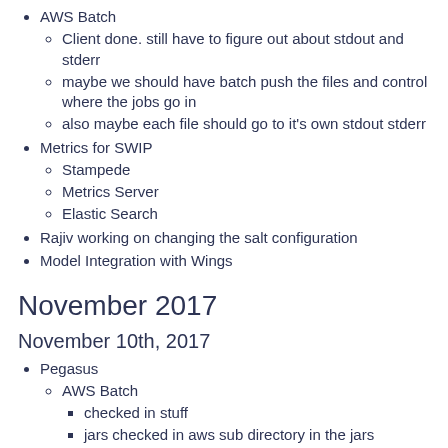AWS Batch
Client done. still have to figure out about stdout and stderr
maybe we should have batch push the files and control where the jobs go in
also maybe each file should go to it's own stdout stderr
Metrics for SWIP
Stampede
Metrics Server
Elastic Search
Rajiv working on changing the salt configuration
Model Integration with Wings
November 2017
November 10th, 2017
Pegasus
AWS Batch
checked in stuff
jars checked in aws sub directory in the jars